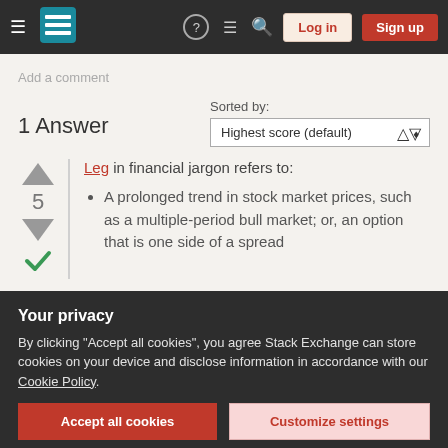[Figure (screenshot): Stack Exchange navigation bar with hamburger menu, logo, help icon, chat icon, search icon, Log in button, Sign up button]
Add a comment
1 Answer
Sorted by:
Highest score (default)
Leg in financial jargon refers to:
A prolonged trend in stock market prices, such as a multiple-period bull market; or, an option that is one side of a spread
Your privacy
By clicking "Accept all cookies", you agree Stack Exchange can store cookies on your device and disclose information in accordance with our Cookie Policy.
Accept all cookies
Customize settings
Improve this answer